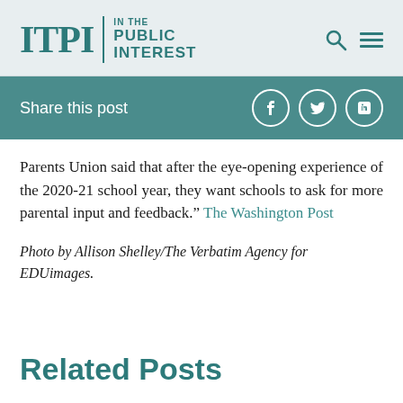ITPI | IN THE PUBLIC INTEREST
Share this post
Parents Union said that after the eye-opening experience of the 2020-21 school year, they want schools to ask for more parental input and feedback.” The Washington Post
Photo by Allison Shelley/The Verbatim Agency for EDUimages.
Related Posts